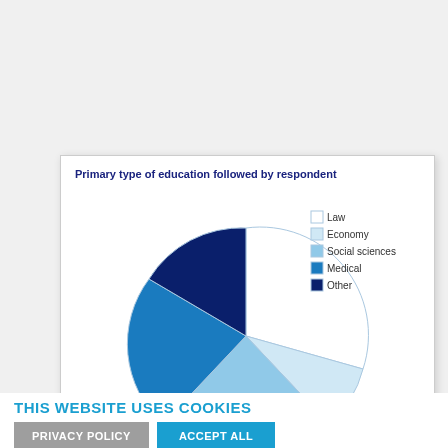[Figure (pie-chart): Primary type of education followed by respondent]
THIS WEBSITE USES COOKIES
PRIVACY POLICY
ACCEPT ALL